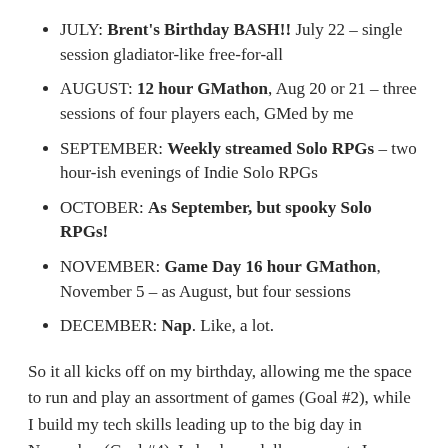JULY: Brent's Birthday BASH!! July 22 – single session gladiator-like free-for-all
AUGUST: 12 hour GMathon, Aug 20 or 21 – three sessions of four players each, GMed by me
SEPTEMBER: Weekly streamed Solo RPGs – two hour-ish evenings of Indie Solo RPGs
OCTOBER: As September, but spooky Solo RPGs!
NOVEMBER: Game Day 16 hour GMathon, November 5 – as August, but four sessions
DECEMBER: Nap. Like, a lot.
So it all kicks off on my birthday, allowing me the space to run and play an assortment of games (Goal #2), while I build my tech skills leading up to the big day in November (Goal #4). I also have dollar amounts I